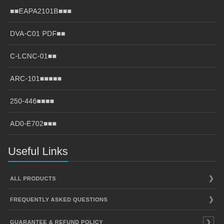EAPA2101B
DVA-C01 PDF
C-LCNC-01
ARC-101
250-446
AD0-E702
Useful Links
ALL PRODUCTS
FREQUENTLY ASKED QUESTIONS
GUARANTEE & REFUND POLICY
HOW TO BUY?